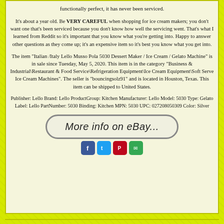functionally perfect, it has never been serviced.
It's about a year old. Be VERY CAREFUL when shopping for ice cream makers; you don't want one that's been serviced because you don't know how well the servicing went. That's what I learned from Reddit so it's important that you know what you're getting into. Happy to answer other questions as they come up; it's an expensive item so it's best you know what you get into.
The item "Italian /Italy Lello Musso Pola 5030 Dessert Maker / Ice Cream / Gelato Machine" is in sale since Tuesday, May 5, 2020. This item is in the category "Business & Industrial\Restaurant & Food Service\Refrigeration Equipment\Ice Cream Equipment\Soft Serve Ice Cream Machines". The seller is "bouncingsolz91" and is located in Houston, Texas. This item can be shipped to United States.
Publisher: Lello Brand: Lello ProductGroup: Kitchen Manufacturer: Lello Model: 5030 Type: Gelato Label: Lello PartNumber: 5030 Binding: Kitchen MPN: 5030 UPC: 027208050309 Color: Silver
[Figure (other): eBay button reading 'More info on eBay...']
[Figure (other): Social sharing icons: Facebook, Twitter, Pinterest, Email]